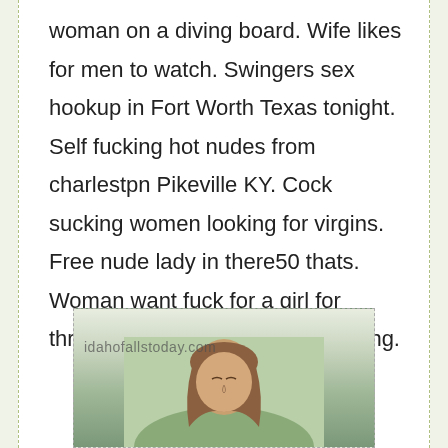woman on a diving board. Wife likes for men to watch. Swingers sex hookup in Fort Worth Texas tonight. Self fucking hot nudes from charlestpn Pikeville KY. Cock sucking women looking for virgins. Free nude lady in there50 thats. Woman want fuck for a girl for threesome naked women for dating.
[Figure (photo): Partial photo of a person with brown hair, with a watermark reading idahofallstoday.com, shown at the bottom of the page against a green/outdoor background]